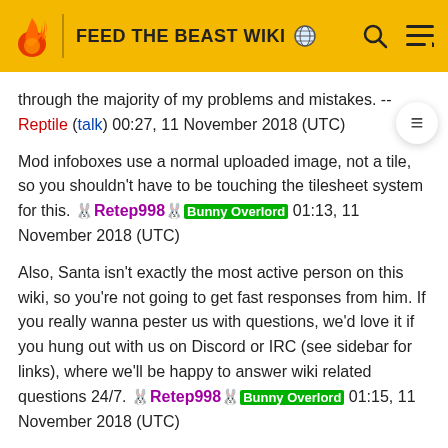FEED THE BEAST WIKI
through the majority of my problems and mistakes. -- Reptile (talk) 00:27, 11 November 2018 (UTC)
Mod infoboxes use a normal uploaded image, not a tile, so you shouldn't have to be touching the tilesheet system for this. 🐇Retep998🐇[Bunny Overlord] 01:13, 11 November 2018 (UTC)
Also, Santa isn't exactly the most active person on this wiki, so you're not going to get fast responses from him. If you really wanna pester us with questions, we'd love it if you hung out with us on Discord or IRC (see sidebar for links), where we'll be happy to answer wiki related questions 24/7. 🐇Retep998🐇[Bunny Overlord] 01:15, 11 November 2018 (UTC)